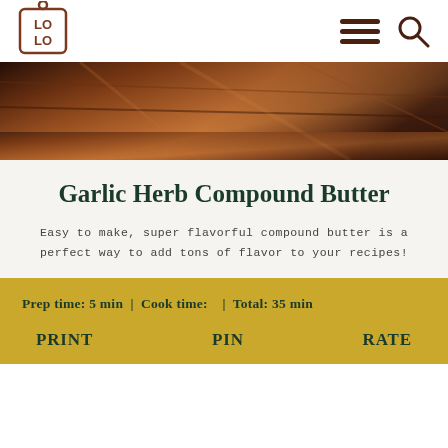[Figure (logo): LOLO logo - a cutting board shaped icon with LO/LO text in dark red/brown]
[Figure (other): Hamburger menu icon (three horizontal lines) and search magnifying glass icon in dark brown]
[Figure (photo): Hero image of a wooden cutting board with warm brown tones, partially visible from top]
Garlic Herb Compound Butter
Easy to make, super flavorful compound butter is a perfect way to add tons of flavor to your recipes!
Prep time: 5 min  |  Cook time:   |  Total: 35 min
PRINT   PIN   RATE